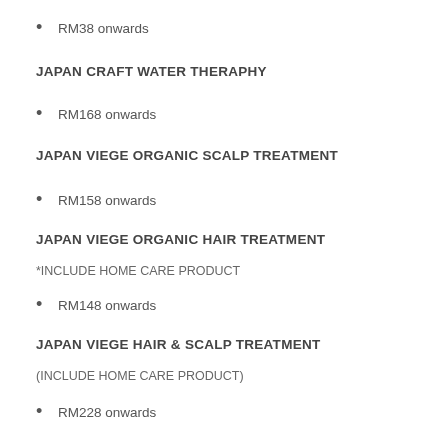RM38 onwards
JAPAN CRAFT WATER THERAPHY
RM168 onwards
JAPAN VIEGE ORGANIC SCALP TREATMENT
RM158 onwards
JAPAN VIEGE ORGANIC HAIR TREATMENT
*INCLUDE HOME CARE PRODUCT
RM148 onwards
JAPAN VIEGE HAIR & SCALP TREATMENT
(INCLUDE HOME CARE PRODUCT)
RM228 onwards